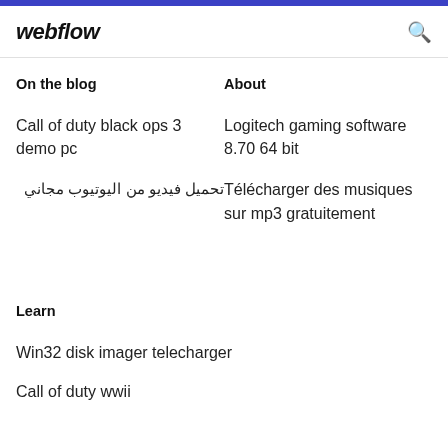webflow
On the blog
About
Call of duty black ops 3 demo pc
Logitech gaming software 8.70 64 bit
تحميل فيديو من اليوتيوب مجاني
Télécharger des musiques sur mp3 gratuitement
Learn
Win32 disk imager telecharger
Call of duty wwii